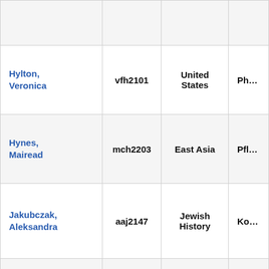| Name | UNI | Region | ... |
| --- | --- | --- | --- |
| Hylton, Veronica | vfh2101 | United States | Ph... |
| Hynes, Mairead | mch2203 | East Asia | Pfl... |
| Jakubczak, Aleksandra | aaj2147 | Jewish History | Ko... |
| Joseph, Matthew | mej2146 | United States | Bla... |
| Katz, Mariana | mk4145 | Latin America | Mi... |